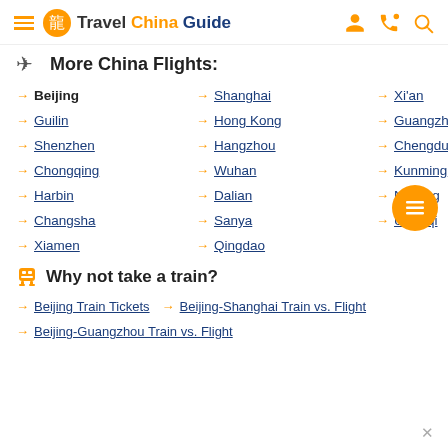Travel China Guide
More China Flights:
Beijing
Shanghai
Xi'an
Guilin
Hong Kong
Guangzhou
Shenzhen
Hangzhou
Chengdu
Chongqing
Wuhan
Kunming
Harbin
Dalian
Nanjing
Changsha
Sanya
Urumqi
Xiamen
Qingdao
Why not take a train?
Beijing Train Tickets
Beijing-Shanghai Train vs. Flight
Beijing-Guangzhou Train vs. Flight